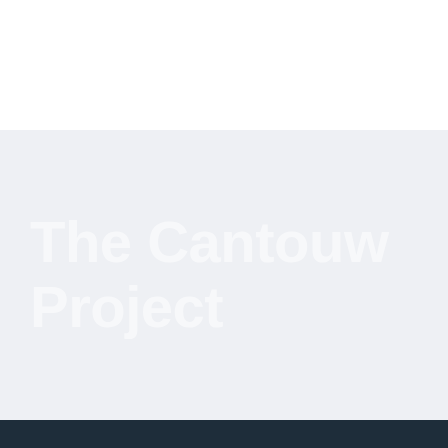[Figure (logo): Nature Connect logo: green leaf, blue water drop, and dark blue globe icons side by side]
NATURE CONNECT
[Figure (other): Dark blue hamburger menu button with three white horizontal lines]
The Cantouw Project